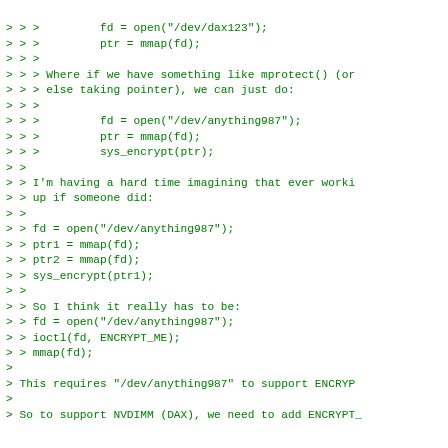> > >         fd = open("/dev/dax123");
> > >         ptr = mmap(fd);
> > >
> > > Where if we have something like mprotect() (or
> > > else taking pointer), we can just do:
> > >
> > >         fd = open("/dev/anything987");
> > >         ptr = mmap(fd);
> > >         sys_encrypt(ptr);
> >
> > I'm having a hard time imagining that ever worki
> > up if someone did:
> >
> > fd = open("/dev/anything987");
> > ptr1 = mmap(fd);
> > ptr2 = mmap(fd);
> > sys_encrypt(ptr1);
> >
> > So I think it really has to be:
> > fd = open("/dev/anything987");
> > ioctl(fd, ENCRYPT_ME);
> > mmap(fd);
>
> This requires "/dev/anything987" to support ENCRYP
>
> So to support NVDIMM (DAX), we need to add ENCRYPT

Yes and yes, or we do it with layers -- see below.

I don't see how we can credibly avoid this.  If we t
behind the DAX driver's back, aren't we going to end
coherence problems?